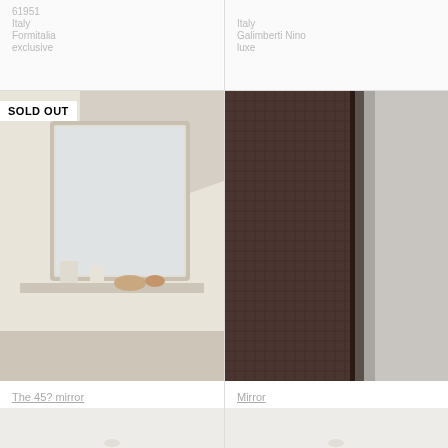61951
Italy
Formitalia
exclusive
Italy
Galimberti Nino
luxe
[Figure (photo): Ornate silver-framed wall mirror in a white room with decorative objects on a shelf. SOLD OUT badge shown.]
[Figure (photo): Close-up of a dark brown woven/textured rectangular mirror frame leaning at an angle.]
The 45? mirror
75356
Italy
Halley
luxe
Mirror
48150
Italy
Laurameroni
exclusive
[Figure (photo): Partial bottom strip image, left side, light background.]
[Figure (photo): Partial bottom strip image, right side, light background.]